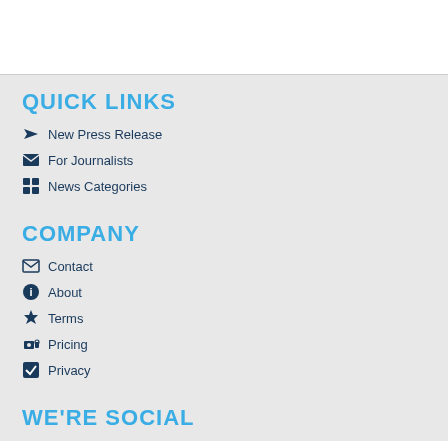QUICK LINKS
New Press Release
For Journalists
News Categories
COMPANY
Contact
About
Terms
Pricing
Privacy
WE'RE SOCIAL